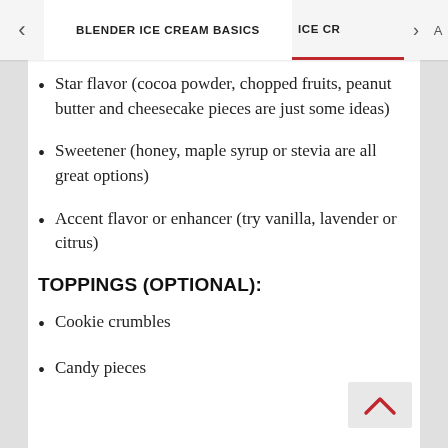BLENDER ICE CREAM BASICS   ICE CR
Star flavor (cocoa powder, chopped fruits, peanut butter and cheesecake pieces are just some ideas)
Sweetener (honey, maple syrup or stevia are all great options)
Accent flavor or enhancer (try vanilla, lavender or citrus)
TOPPINGS (OPTIONAL):
Cookie crumbles
Candy pieces